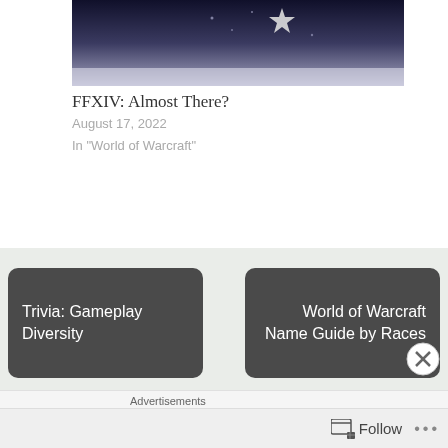[Figure (photo): Dark fantasy game screenshot with a star in the sky, night scene]
FFXIV: Almost There?
August 17, 2022
In "World of Warcraft"
Trivia: Gameplay Diversity
World of Warcraft Name Guide by Races
Leave a Reply
Advertisements
[Figure (photo): Advertisement banner with woman, W logo, SHOP THE text and SHOP button]